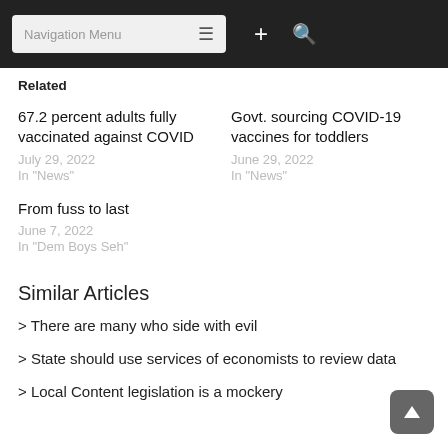Navigation Menu
Related
67.2 percent adults fully vaccinated against COVID
July 29, 2022
In "News"
Govt. sourcing COVID-19 vaccines for toddlers
June 29, 2022
In "News"
From fuss to last
June 7, 2022
In "Dem Boys Seh"
Similar Articles
> There are many who side with evil
> State should use services of economists to review data
> Local Content legislation is a mockery